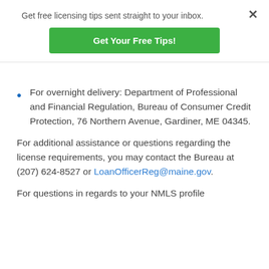Get free licensing tips sent straight to your inbox.
[Figure (other): Green CTA button labeled 'Get Your Free Tips!']
For overnight delivery: Department of Professional and Financial Regulation, Bureau of Consumer Credit Protection, 76 Northern Avenue, Gardiner, ME 04345.
For additional assistance or questions regarding the license requirements, you may contact the Bureau at (207) 624-8527 or LoanOfficerReg@maine.gov.
For questions in regards to your NMLS profile